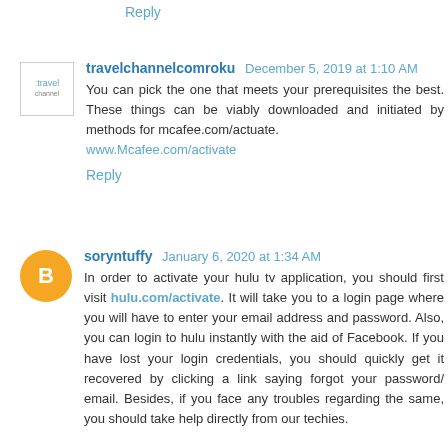Reply
travelchannelcomroku  December 5, 2019 at 1:10 AM
You can pick the one that meets your prerequisites the best. These things can be viably downloaded and initiated by methods for mcafee.com/actuate.
www.Mcafee.com/activate
Reply
soryntuffy  January 6, 2020 at 1:34 AM
In order to activate your hulu tv application, you should first visit hulu.com/activate. It will take you to a login page where you will have to enter your email address and password. Also, you can login to hulu instantly with the aid of Facebook. If you have lost your login credentials, you should quickly get it recovered by clicking a link saying forgot your password/ email. Besides, if you face any troubles regarding the same, you should take help directly from our techies.